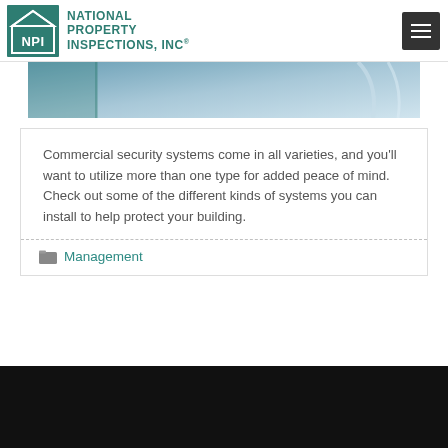National Property Inspections, Inc.
[Figure (photo): Blue-toned banner image strip, partially visible, with teal accent at left edge]
Commercial security systems come in all varieties, and you'll want to utilize more than one type for added peace of mind. Check out some of the different kinds of systems you can install to help protect your building.
Management